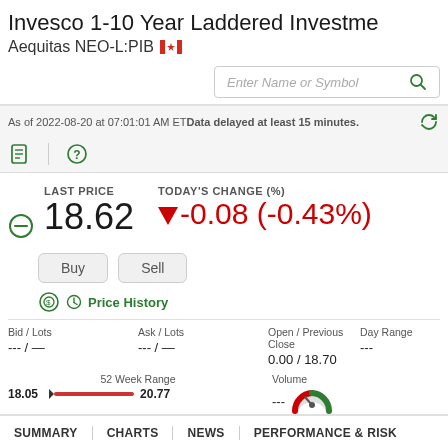Invesco 1-10 Year Laddered Investme
Aequitas NEO-L:PIB 🇨🇦
Enter Name or Symbol
As of 2022-08-20 at 07:01:01 AM ETData delayed at least 15 minutes.
LAST PRICE
18.62
TODAY'S CHANGE (%)
-0.08 (-0.43%)
Buy
Sell
Price History
| Bid / Lots | Ask / Lots | Open / Previous Close | Day Range |
| --- | --- | --- | --- |
| --- / — | --- / — | 0.00 / 18.70 | --- |
52 Week Range
18.05 ◄——— 20.77
Volume
---
Overall Morningstar Rating
★★★★☆ out of 183 funds
SUMMARY | CHARTS | NEWS | PERFORMANCE & RISK